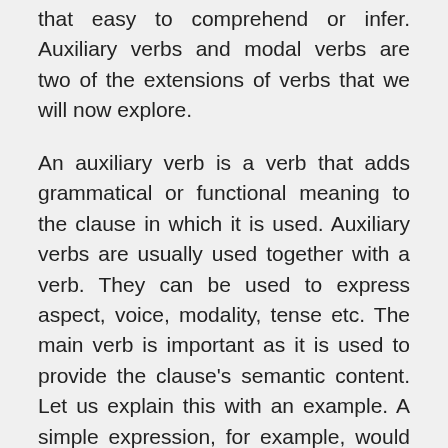that easy to comprehend or infer. Auxiliary verbs and modal verbs are two of the extensions of verbs that we will now explore.
An auxiliary verb is a verb that adds grammatical or functional meaning to the clause in which it is used. Auxiliary verbs are usually used together with a verb. They can be used to express aspect, voice, modality, tense etc. The main verb is important as it is used to provide the clause's semantic content. Let us explain this with an example. A simple expression, for example, would be to say, “I have finished writing this article”. Here the verb is writing and the auxiliary verb would be ‘have’, which helps to express the perfect aspect. There can be two or more auxiliary verbs as well in a sentence. If you